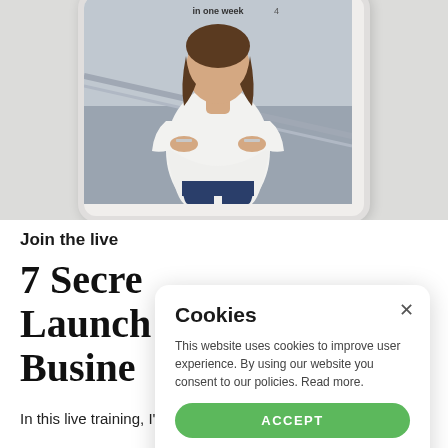[Figure (photo): Screenshot/mockup of a tablet device showing a person (woman in white blouse and dark jeans, arms crossed) with text 'in one week' visible at the top of the tablet screen]
Join the live
7 Secre
Launch
Busine
In this live training, I'll show you how to start
Cookies
This website uses cookies to improve user experience. By using our website you consent to our policies. Read more.
ACCEPT
POWERED BY COOKIE-SCRIPT